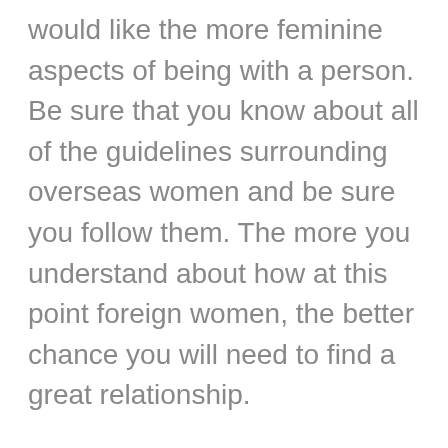would like the more feminine aspects of being with a person. Be sure that you know about all of the guidelines surrounding overseas women and be sure you follow them. The more you understand about how at this point foreign women, the better chance you will need to find a great relationship.
You may be thinking that you don'tneed to date international ladies if you wish to marry. This is only authentic for those who are certainly not interested in marriage. If you are enthusiastic about getting married, you might want to consider online dating foreign females